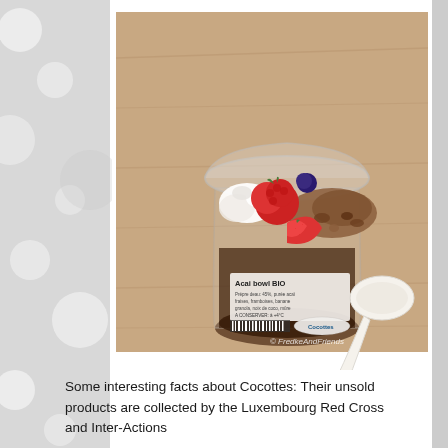[Figure (photo): A clear plastic cup labeled 'Acai bowl BIO' with a Cocottes logo, filled with acai, topped with raspberries, strawberry slices, coconut flakes, and granola, placed on a wooden surface next to a white plastic spoon. Watermark reads '© FredkeAndFriends'.]
Some interesting facts about Cocottes: Their unsold products are collected by the Luxembourg Red Cross and Inter-Actions